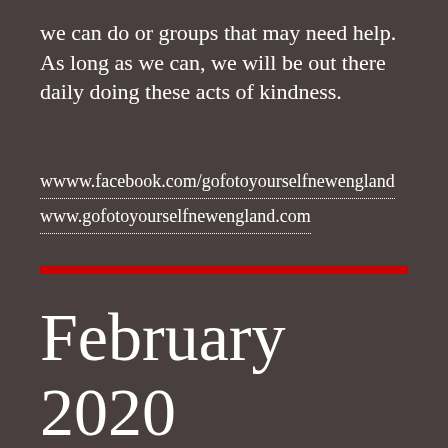we can do or groups that may need help. As long as we can, we will be out there daily doing these acts of kindness.
wwww.facebook.com/gofotoyourselfnewengland
www.gofotoyourselfnewengland.com
February 2020 Community